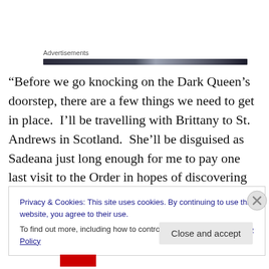Advertisements
“Before we go knocking on the Dark Queen’s doorstep, there are a few things we need to get in place.  I’ll be travelling with Brittany to St. Andrews in Scotland.  She’ll be disguised as Sadeana just long enough for me to pay one last visit to the Order in hopes of discovering their true intentions for the child of prophecy.”
Privacy & Cookies: This site uses cookies. By continuing to use this website, you agree to their use.
To find out more, including how to control cookies, see here: Cookie Policy